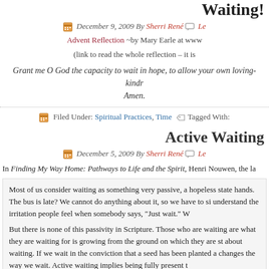Waiting!
December 9, 2009 By Sherri René  Le
Advent Reflection ~by Mary Earle at www
(link to read the whole reflection – it is
Grant me O God the capacity to wait in hope, to allow your own loving-kindr... Amen.
Filed Under: Spiritual Practices, Time   Tagged With:
Active Waiting
December 5, 2009 By Sherri René  Le
In Finding My Way Home: Pathways to Life and the Spirit, Henri Nouwen, the la
Most of us consider waiting as something very passive, a hopeless state... hands. The bus is late? We cannot do anything about it, so we have to si... understand the irritation people feel when somebody says, "Just wait." W
But there is none of this passivity in Scripture. Those who are waiting are... what they are waiting for is growing from the ground on which they are st... about waiting. If we wait in the conviction that a seed has been planted a... changes the way we wait. Active waiting implies being fully present t